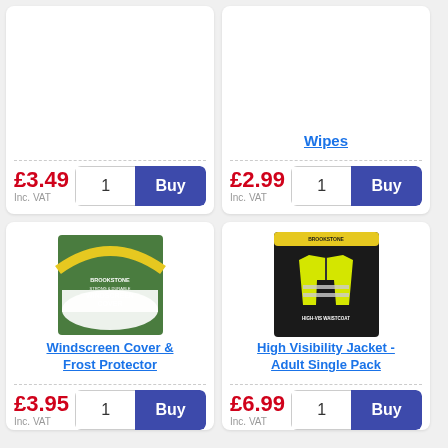[Figure (screenshot): Top-left product card (partial): price £3.49 Inc. VAT with quantity 1 and Buy button]
£3.49
Inc. VAT
[Figure (screenshot): Top-right product card (partial): product link 'Wipes', price £2.99 Inc. VAT with quantity 1 and Buy button]
Wipes
£2.99
Inc. VAT
[Figure (photo): Windscreen Cover product image - green and yellow packaging]
Windscreen Cover & Frost Protector
£3.95
Inc. VAT
[Figure (photo): High Visibility Jacket product image - yellow hi-vis jacket on black packaging]
High Visibility Jacket - Adult Single Pack
£6.99
Inc. VAT